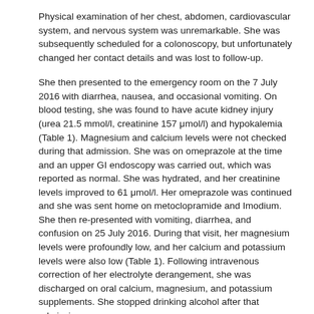Physical examination of her chest, abdomen, cardiovascular system, and nervous system was unremarkable. She was subsequently scheduled for a colonoscopy, but unfortunately changed her contact details and was lost to follow-up.
She then presented to the emergency room on the 7 July 2016 with diarrhea, nausea, and occasional vomiting. On blood testing, she was found to have acute kidney injury (urea 21.5 mmol/l, creatinine 157 μmol/l) and hypokalemia (Table 1). Magnesium and calcium levels were not checked during that admission. She was on omeprazole at the time and an upper GI endoscopy was carried out, which was reported as normal. She was hydrated, and her creatinine levels improved to 61 μmol/l. Her omeprazole was continued and she was sent home on metoclopramide and Imodium. She then re-presented with vomiting, diarrhea, and confusion on 25 July 2016. During that visit, her magnesium levels were profoundly low, and her calcium and potassium levels were also low (Table 1). Following intravenous correction of her electrolyte derangement, she was discharged on oral calcium, magnesium, and potassium supplements. She stopped drinking alcohol after that admission.
An out-patient colonoscopy and biopsy were then carried out 1 month later. Endoscopic appearances were unremarkable except for a single polyp, which was removed. The patholo-gist's report was